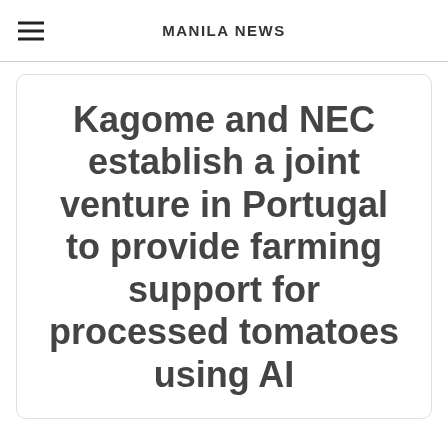MANILA NEWS
Kagome and NEC establish a joint venture in Portugal to provide farming support for processed tomatoes using AI